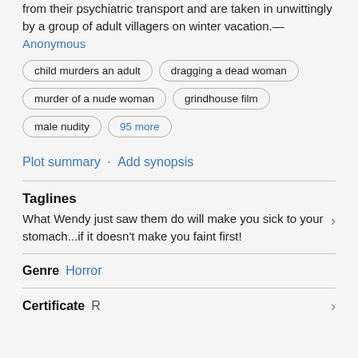from their psychiatric transport and are taken in unwittingly by a group of adult villagers on winter vacation.—Anonymous
child murders an adult
dragging a dead woman
murder of a nude woman
grindhouse film
male nudity
95 more
Plot summary · Add synopsis
Taglines
What Wendy just saw them do will make you sick to your stomach...if it doesn't make you faint first!
Genre  Horror
Certificate  R